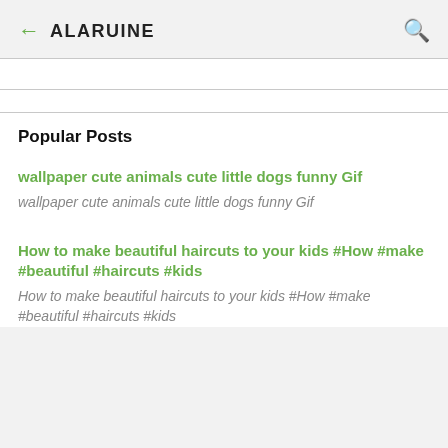← ALARUINE 🔍
Popular Posts
wallpaper cute animals cute little dogs funny Gif
wallpaper cute animals cute little dogs funny Gif
How to make beautiful haircuts to your kids #How #make #beautiful #haircuts #kids
How to make beautiful haircuts to your kids #How #make #beautiful #haircuts #kids